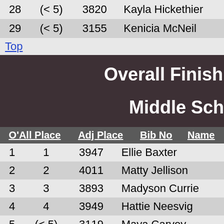| O'All Place | Adj Place | Bib No | Name |
| --- | --- | --- | --- |
| 28 | (< 5) | 3820 | Kayla Hickethier |
| 29 | (< 5) | 3155 | Kenicia McNeil |
Top
Overall Finish Middle Sch
| O'All Place | Adj Place | Bib No | Name |
| --- | --- | --- | --- |
| 1 | 1 | 3947 | Ellie Baxter |
| 2 | 2 | 4011 | Matty Jellison |
| 3 | 3 | 3893 | Madyson Currie |
| 4 | 4 | 3949 | Hattie Neesvig |
| 5 | (< 5) | 3119 | Maya Carvey |
| 6 | 5 | 3850 | Kylee Niemeyer |
| 7 | 6 | 3900 |  |